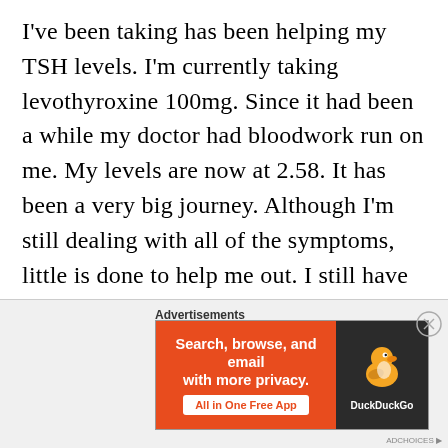I've been taking has been helping my TSH levels. I'm currently taking levothyroxine 100mg. Since it had been a while my doctor had bloodwork run on me. My levels are now at 2.58. It has been a very big journey. Although I'm still dealing with all of the symptoms, little is done to help me out. I still have the symptoms of cold/hot tolerance, issues with certain foods, sleeping problems, fatigue, muscle aches and pains ,hair loss, my weight is going on a roller coaster ride, and I'm always getting sick frequently. According
[Figure (other): Advertisement banner for DuckDuckGo app: 'Search, browse, and email with more privacy. All in One Free App' with DuckDuckGo duck logo on dark background]